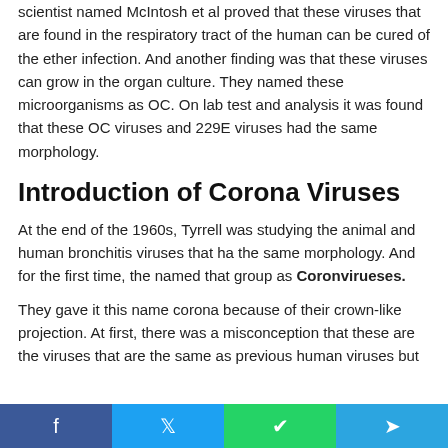scientist named McIntosh et al proved that these viruses that are found in the respiratory tract of the human can be cured of the ether infection. And another finding was that these viruses can grow in the organ culture. They named these microorganisms as OC. On lab test and analysis it was found that these OC viruses and 229E viruses had the same morphology.
Introduction of Corona Viruses
At the end of the 1960s, Tyrrell was studying the animal and human bronchitis viruses that ha the same morphology. And for the first time, the named that group as Coronvirueses.
They gave it this name corona because of their crown-like projection. At first, there was a misconception that these are the viruses that are the same as previous human viruses but